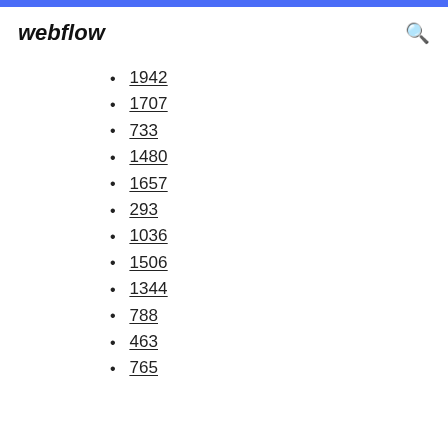webflow
1942
1707
733
1480
1657
293
1036
1506
1344
788
463
765